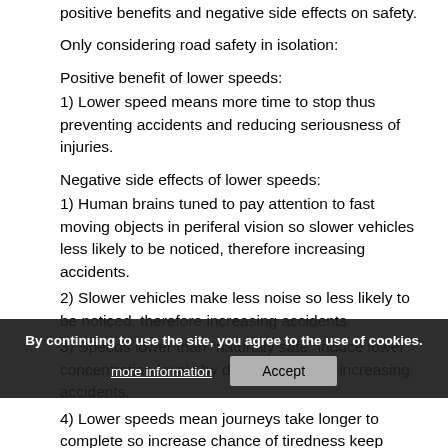positive benefits and negative side effects on safety.
Only considering road safety in isolation:
Positive benefit of lower speeds:
1) Lower speed means more time to stop thus preventing accidents and reducing seriousness of injuries.
Negative side effects of lower speeds:
1) Human brains tuned to pay attention to fast moving objects in periferal vision so slower vehicles less likely to be noticed, therefore increasing accidents.
2) Slower vehicles make less noise so less likely to be noticed, therefore increasing accidents.
3) Speeds lower than “naturally safe” induce lower concentration levels by drivers therefore increasing accidents.
4) Lower speeds mean journeys take longer to complete so increase chance of tiredness keep accidents.
5) Roads “feeling safe” lead to less attention by pedestrians, therefore increasing accidents.